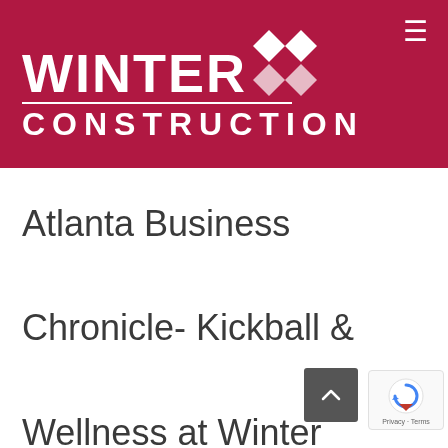[Figure (logo): Winter Construction company logo — white text 'WINTER' with diamond/bowtie icon and 'CONSTRUCTION' below, on dark red background with hamburger menu icon top right]
Atlanta Business Chronicle- Kickball & Wellness at Winter